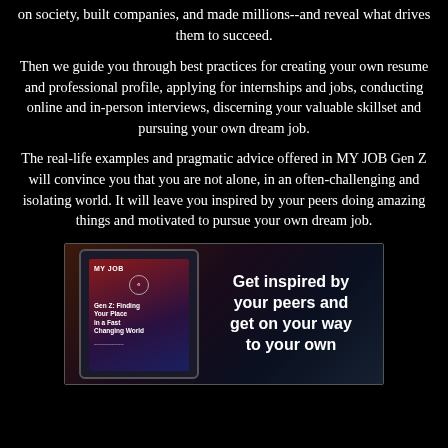on society, built companies, and made millions--and reveal what drives them to succeed.
Then we guide you through best practices for creating your own resume and professional profile, applying for internships and jobs, conducting online and in-person interviews, discerning your valuable skillset and pursuing your own dream job.
The real-life examples and pragmatic advice offered in MY JOB Gen Z will convince you that you are not alone, in an often-challenging and isolating world. It will leave you inspired by your peers doing amazing things and motivated to pursue your own dream job.
[Figure (illustration): Book cover image showing a tablet device displaying the book 'MY JOB Gen Z: Finding Your Place in a Fast Changing World' alongside the tagline 'Get inspired by your peers and get on your way to your own']